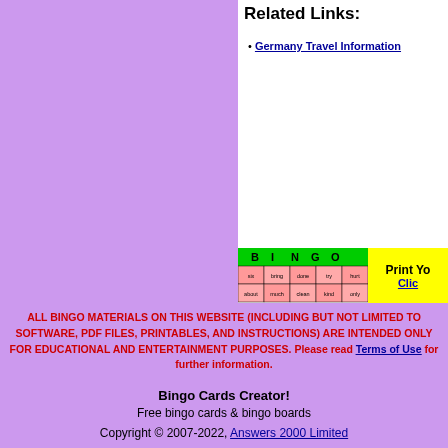Related Links:
Germany Travel Information
[Figure (illustration): Bingo card mini preview with B I N G O header in green and pink/salmon colored cells with words: six, bring, done, try, hurt, about, much, clean, kind, only. Next to it a yellow section with text 'Print Yo' and 'Clic']
ALL BINGO MATERIALS ON THIS WEBSITE (INCLUDING BUT NOT LIMITED TO SOFTWARE, PDF FILES, PRINTABLES, AND INSTRUCTIONS) ARE INTENDED ONLY FOR EDUCATIONAL AND ENTERTAINMENT PURPOSES. Please read Terms of Use for further information.
Bingo Cards Creator!
Free bingo cards & bingo boards
Copyright © 2007-2022, Answers 2000 Limited